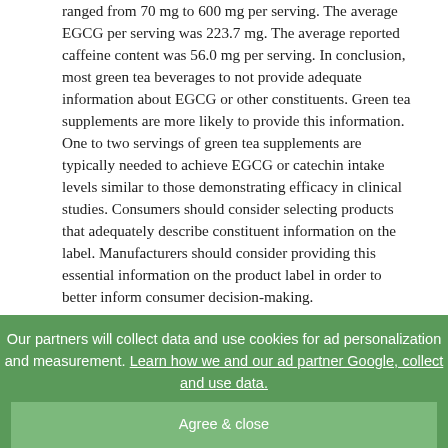ranged from 70 mg to 600 mg per serving. The average EGCG per serving was 223.7 mg. The average reported caffeine content was 56.0 mg per serving. In conclusion, most green tea beverages to not provide adequate information about EGCG or other constituents. Green tea supplements are more likely to provide this information. One to two servings of green tea supplements are typically needed to achieve EGCG or catechin intake levels similar to those demonstrating efficacy in clinical studies. Consumers should consider selecting products that adequately describe constituent information on the label. Manufacturers should consider providing this essential information on the product label in order to better inform consumer decision-making.

Keywords: Nutraceutical, green tea, catechins, EGCG, supplement labeling. INTRODUCTION Tea is obtained from the leaves and buds of the Camellia sinensis plant. There are several different forms of tea including green, black, pu-erh, and oolong or white tea [1,2]. How the Camellia sinensis plant parts are grown, harvested, and processed will determine the
Our partners will collect data and use cookies for ad personalization and measurement. Learn how we and our ad partner Google, collect and use data.
Agree & close